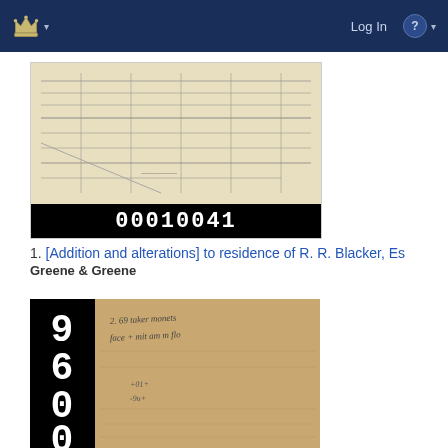Log In  ?
[Figure (photo): Architectural drawing thumbnail with barcode strip at bottom showing '00010041']
1. [Addition and alterations] to residence of R. R. Blacker, Es...
Greene & Greene
[Figure (photo): Handwritten document/note thumbnail with barcode strip on left side showing '960001']